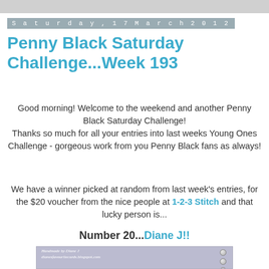Saturday, 17 March 2012
Penny Black Saturday Challenge...Week 193
Good morning! Welcome to the weekend and another Penny Black Saturday Challenge! Thanks so much for all your entries into last weeks Young Ones Challenge - gorgeous work from you Penny Black fans as always!
We have a winner picked at random from last week's entries, for the $20 voucher from the nice people at 1-2-3 Stitch and that lucky person is...
Number 20...Diane J!!
[Figure (photo): Handmade card by Diane J showing purple tulips on a grey/lavender background with decorative gems, with watermark text 'Handmade by Diane J dianesfavouritecards.blogspot.com']